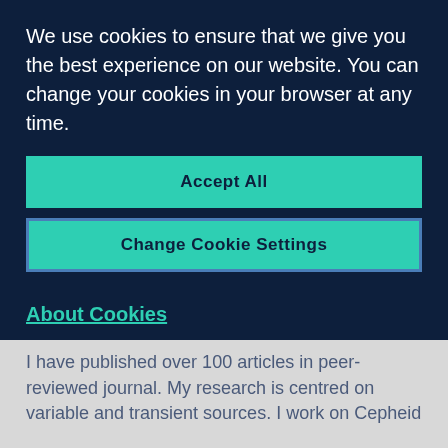We use cookies to ensure that we give you the best experience on our website. You can change your cookies in your browser at any time.
Accept All
Change Cookie Settings
About Cookies
Space Telescope Science Institute (Baltimore, MD, USA) before LJMU in 2005.
I have published over 100 articles in peer-reviewed journal. My research is centred on variable and transient sources. I work on Cepheid variables to ensure that we confirm this